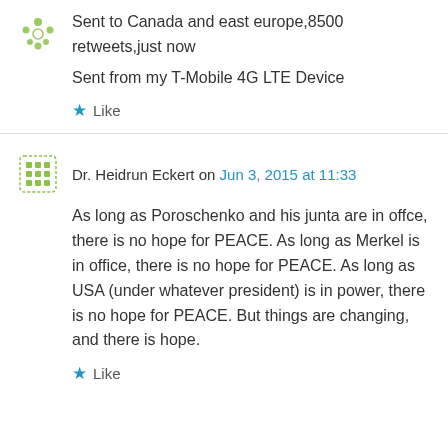[Figure (illustration): Green decorative avatar icon (top left, partially visible)]
Sent to Canada and east europe,8500 retweets,just now
Sent from my T-Mobile 4G LTE Device
Like
[Figure (illustration): Green grid/mosaic avatar icon for Dr. Heidrun Eckert]
Dr. Heidrun Eckert on Jun 3, 2015 at 11:33
As long as Poroschenko and his junta are in offce, there is no hope for PEACE. As long as Merkel is in office, there is no hope for PEACE. As long as USA (under whatever president) is in power, there is no hope for PEACE. But things are changing, and there is hope.
Like